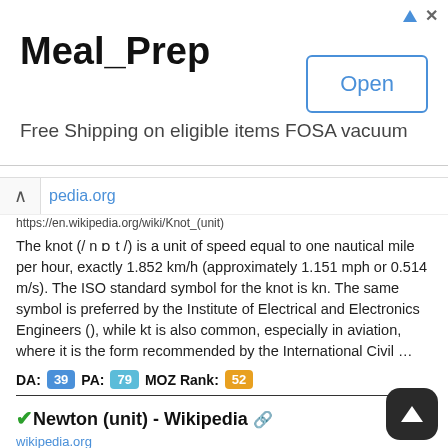[Figure (screenshot): Advertisement banner for Meal_Prep with 'Open' button and text 'Free Shipping on eligible items FOSA vacuum']
pedia.org
https://en.wikipedia.org/wiki/Knot_(unit)
The knot (/ n ɒ t /) is a unit of speed equal to one nautical mile per hour, exactly 1.852 km/h (approximately 1.151 mph or 0.514 m/s). The ISO standard symbol for the knot is kn. The same symbol is preferred by the Institute of Electrical and Electronics Engineers (), while kt is also common, especially in aviation, where it is the form recommended by the International Civil …
DA: 39  PA: 79  MOZ Rank: 52
✔Newton (unit) - Wikipedia 🔗
wikipedia.org
https://en.wikipedia.org/wiki/Newton_(unit)
It is common to see forces expressed in kilonewtons (kN), where 1 kN = 1000 N.For example, the tractive effort of a